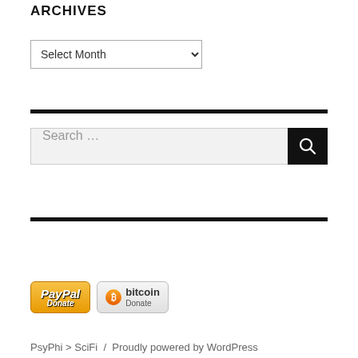ARCHIVES
Select Month (dropdown)
Search ...
[Figure (illustration): PayPal Donate button and Bitcoin Donate button side by side]
PsyPhi > SciFi  /  Proudly powered by WordPress